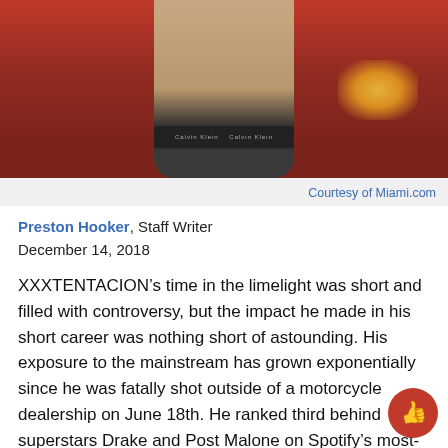[Figure (photo): Shirtless person wearing Calvin Klein waistband against a red background with a bright light in the upper right]
Courtesy of Miami.com
Preston Hooker, Staff Writer
December 14, 2018
XXXTENTACION’s time in the limelight was short and filled with controversy, but the impact he made in his short career was nothing short of astounding. His exposure to the mainstream has grown exponentially since he was fatally shot outside of a motorcycle dealership on June 18th. He ranked third behind superstars Drake and Post Malone on Spotify’s most-streamed artists of 2018 list, and his smash hit “SAD!” ranked second o…